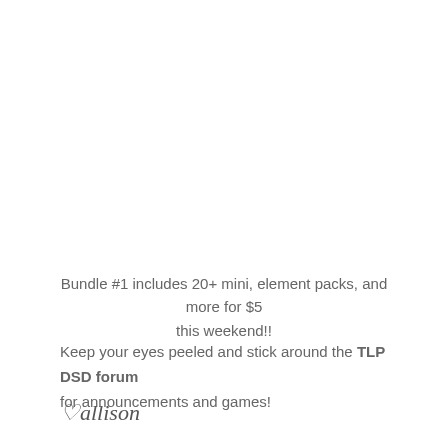Bundle #1 includes 20+ mini, element packs, and more for $5 this weekend!!
Keep your eyes peeled and stick around the TLP DSD forum for announcements and games!
♡allison